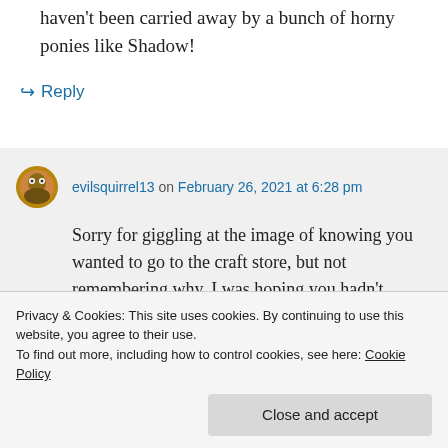haven't been carried away by a bunch of horny ponies like Shadow!
↪ Reply
evilsquirrel13 on February 26, 2021 at 6:28 pm
Sorry for giggling at the image of knowing you wanted to go to the craft store, but not remembering why. I was hoping you hadn't completely forgotten, because even the
Privacy & Cookies: This site uses cookies. By continuing to use this website, you agree to their use.
To find out more, including how to control cookies, see here: Cookie Policy
Close and accept